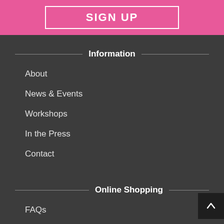SIGN UP
Information
About
News & Events
Workshops
In the Press
Contact
Online Shopping
FAQs